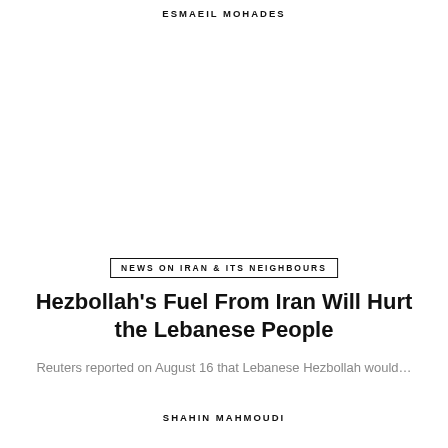ESMAEIL MOHADES
NEWS ON IRAN & ITS NEIGHBOURS
Hezbollah's Fuel From Iran Will Hurt the Lebanese People
Reuters reported on August 16 that Lebanese Hezbollah would…
SHAHIN MAHMOUDI